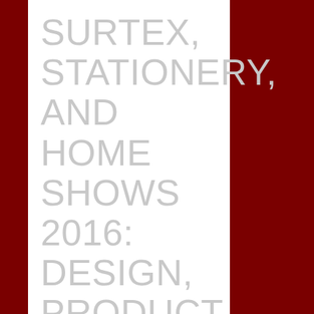SURTEX, STATIONERY, AND HOME SHOWS 2016: DESIGN, PRODUCT & PACKAGING TRENDS
NEW YORK, NY; May 16, 2016 —The joy of Surtex, which